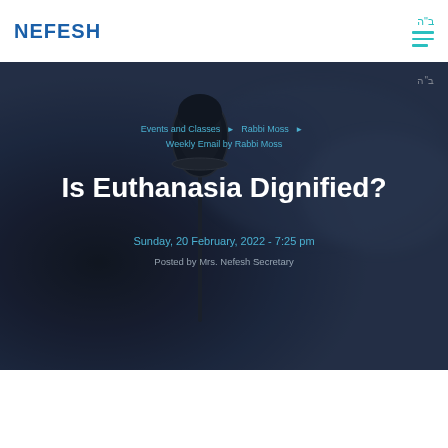NEFESH
[Figure (screenshot): Dark blurred background photo of a microphone on stage with blurred crowd, overlaid with text content for a webpage header hero section. Hebrew text בּ"ה appears top right.]
Events and Classes > Rabbi Moss > Weekly Email by Rabbi Moss
Is Euthanasia Dignified?
Sunday, 20 February, 2022 - 7:25 pm
Posted by Mrs. Nefesh Secretary